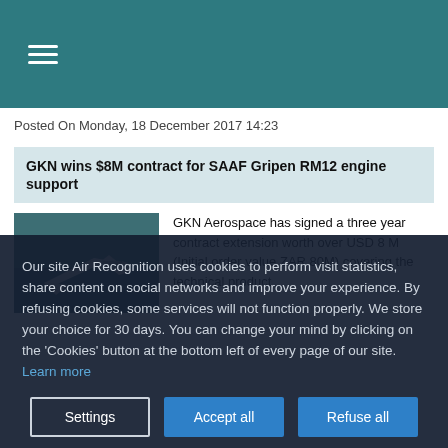≡ (hamburger menu)
Posted On Monday, 18 December 2017 14:23
GKN wins $8M contract for SAAF Gripen RM12 engine support
[Figure (photo): Fighter jet (Gripen) flying over water]
GKN Aerospace has signed a three year contract extension worth over USD 8 M (Initial order value ZAR 80M) covering the technical product
Our site Air Recognition uses cookies to perform visit statistics, share content on social networks and improve your experience. By refusing cookies, some services will not function properly. We store your choice for 30 days. You can change your mind by clicking on the 'Cookies' button at the bottom left of every page of our site. Learn more
Settings | Accept all | Refuse all